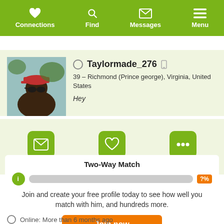[Figure (screenshot): App navigation bar with Connections, Find, Messages, Menu icons on green background]
[Figure (photo): Profile photo of a person wearing a red cap and sunglasses outdoors]
Taylormade_276
39 – Richmond (Prince george), Virginia, United States
Hey
Message
Add to Favorites
More
Two-Way Match
Join and create your free profile today to see how well you match with him, and hundreds more.
Join now
Online: More than 6 months ago